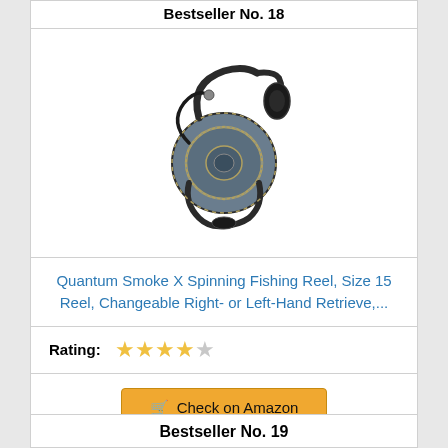Bestseller No. 18
[Figure (photo): Quantum Smoke X spinning fishing reel, blue-grey and black, size 15]
Quantum Smoke X Spinning Fishing Reel, Size 15 Reel, Changeable Right- or Left-Hand Retrieve,...
Rating: ★★★★☆
Check on Amazon
Bestseller No. 19